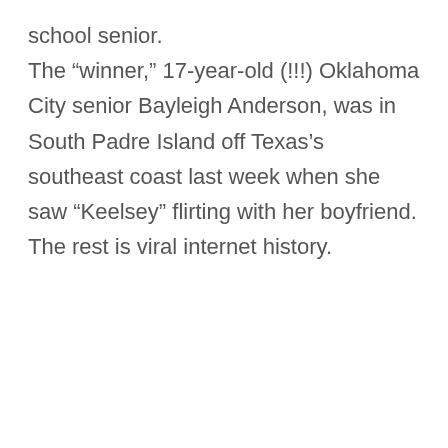school senior.
The “winner,” 17-year-old (!!!) Oklahoma City senior Bayleigh Anderson, was in South Padre Island off Texas’s southeast coast last week when she saw “Keelsey” flirting with her boyfriend.
The rest is viral internet history.